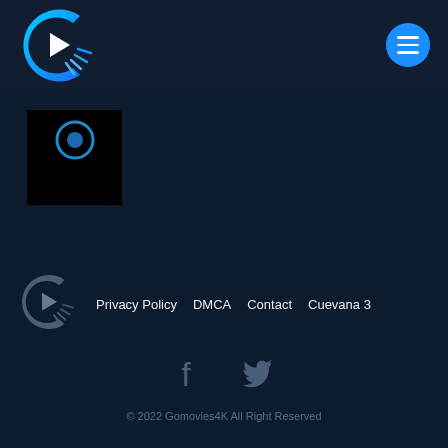Gomovies4K header with logo and hamburger menu
[Figure (other): Black thumbnail image with a blue circular icon]
[Figure (logo): Gomovies4K logo (gray version) in footer]
Privacy Policy  DMCA  Contact  Cuevana 3
[Figure (other): Facebook and Twitter social media icons]
© 2022 Gomovies4K All Right Reserved